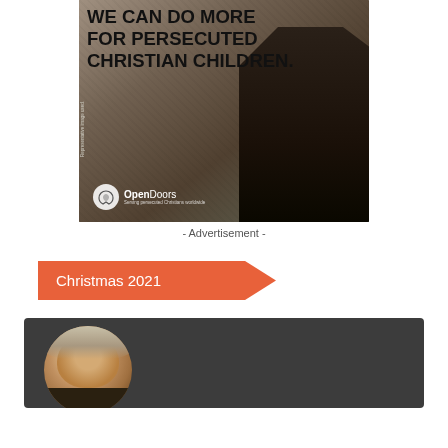[Figure (photo): Open Doors advertisement showing a young boy standing amid rubble/destroyed buildings. Bold text reads 'WE CAN DO MORE FOR PERSECUTED CHRISTIAN CHILDREN.' with Open Doors logo and tagline 'Serving persecuted Christians worldwide'. Rotated text reads 'Representative image used.']
- Advertisement -
Christmas 2021
[Figure (photo): Dark card/banner with circular portrait photo of an elderly man with gray/white hair, partial view at bottom of page.]